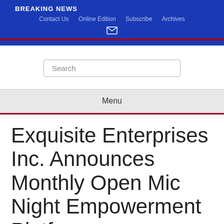BREAKING NEWS
Contact Us  Online Edition  Subscribe  Archives
Search
Menu
Exquisite Enterprises Inc. Announces Monthly Open Mic Night Empowerment Platf…